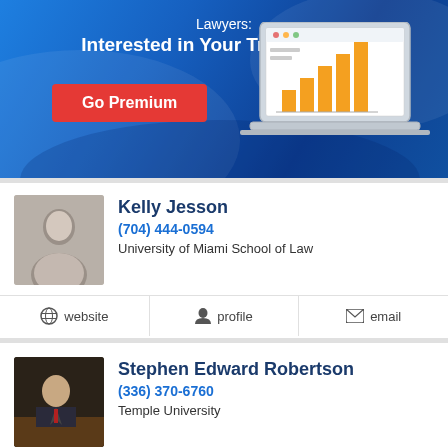[Figure (infographic): Blue gradient promotional banner with text 'Lawyers: Interested in Your Traffic Stats?', a red 'Go Premium' button, and a laptop illustration showing a bar chart]
Kelly Jesson
(704) 444-0594
University of Miami School of Law
website
profile
email
Stephen Edward Robertson
(336) 370-6760
Temple University